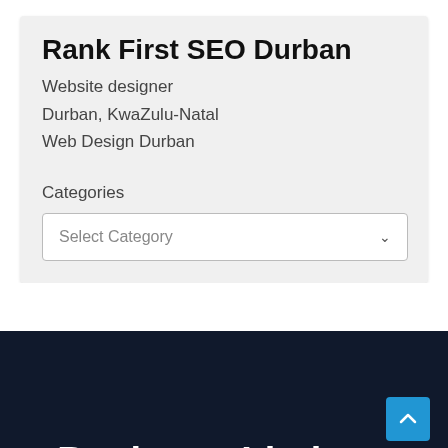Rank First SEO Durban
Website designer
Durban, KwaZulu-Natal
Web Design Durban
Categories
Select Category
Business Listings